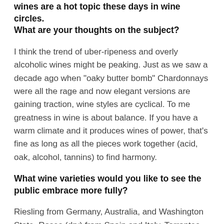wines are a hot topic these days in wine circles. What are your thoughts on the subject?
I think the trend of uber-ripeness and overly alcoholic wines might be peaking. Just as we saw a decade ago when "oaky butter bomb" Chardonnays were all the rage and now elegant versions are gaining traction, wine styles are cyclical. To me greatness in wine is about balance. If you have a warm climate and it produces wines of power, that's fine as long as all the pieces work together (acid, oak, alcohol, tannins) to find harmony.
What wine varieties would you like to see the public embrace more fully?
Riesling from Germany, Australia, and Washington State. Roses (dry) from Spain and Italy. Torrontes